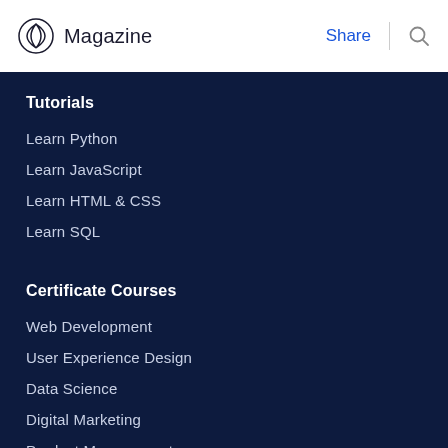Magazine | Share
Tutorials
Learn Python
Learn JavaScript
Learn HTML & CSS
Learn SQL
Certificate Courses
Web Development
User Experience Design
Data Science
Digital Marketing
Product Management
Product Leadership
Cybersecurity